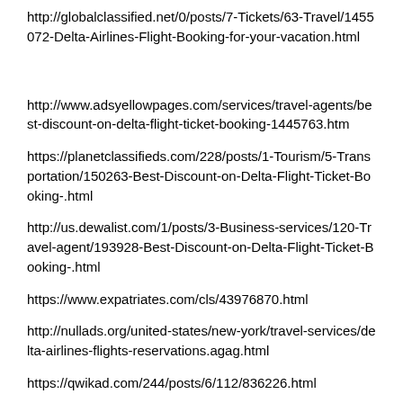http://globalclassified.net/0/posts/7-Tickets/63-Travel/1455072-Delta-Airlines-Flight-Booking-for-your-vacation.html
http://www.adsyellowpages.com/services/travel-agents/best-discount-on-delta-flight-ticket-booking-1445763.htm
https://planetclassifieds.com/228/posts/1-Tourism/5-Transportation/150263-Best-Discount-on-Delta-Flight-Ticket-Booking-.html
http://us.dewalist.com/1/posts/3-Business-services/120-Travel-agent/193928-Best-Discount-on-Delta-Flight-Ticket-Booking-.html
https://www.expatriates.com/cls/43976870.html
http://nullads.org/united-states/new-york/travel-services/delta-airlines-flights-reservations.agag.html
https://qwikad.com/244/posts/6/112/836226.html